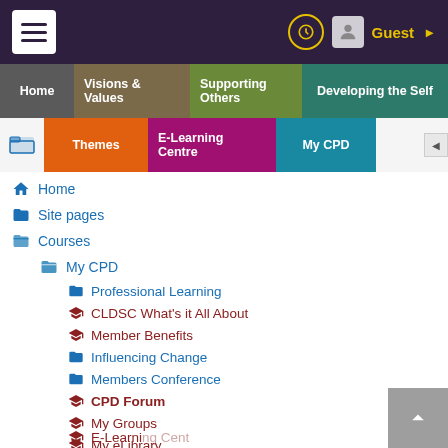Guest
Home
Visions & Values
Supporting Others
Developing the Self
Themes
E-Learning Centre
My CPD
Home
Site pages
Courses
My CPD
Professional Learning
CLDSC What's it All About
Member Benefits
Influencing Change
Members Conference
CPD Forum
My Groups
My eLibrary
Competency Profiling